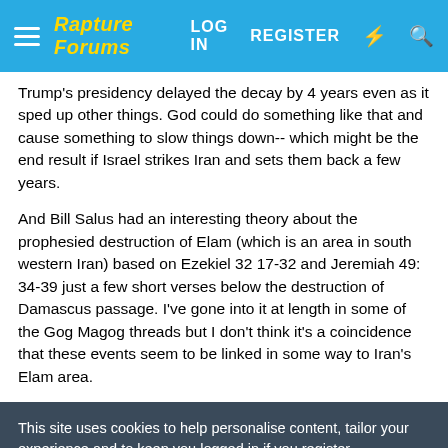Rapture Forums | LOG IN  REGISTER
Trump's presidency delayed the decay by 4 years even as it sped up other things. God could do something like that and cause something to slow things down-- which might be the end result if Israel strikes Iran and sets them back a few years.
And Bill Salus had an interesting theory about the prophesied destruction of Elam (which is an area in south western Iran) based on Ezekiel 32 17-32 and Jeremiah 49: 34-39 just a few short verses below the destruction of Damascus passage. I've gone into it at length in some of the Gog Magog threads but I don't think it's a coincidence that these events seem to be linked in some way to Iran's Elam area.
This site uses cookies to help personalise content, tailor your experience and to keep you logged in if you register.
By continuing to use this site, you are consenting to our use of cookies.